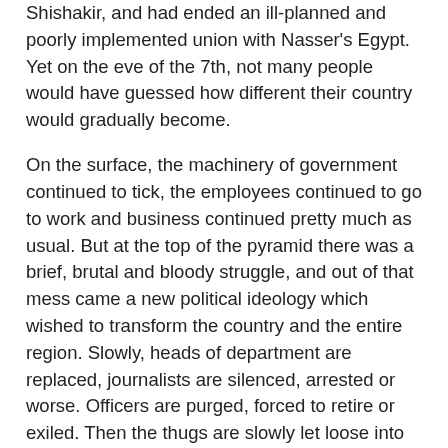Shishakir, and had ended an ill-planned and poorly implemented union with Nasser's Egypt. Yet on the eve of the 7th, not many people would have guessed how different their country would gradually become.
On the surface, the machinery of government continued to tick, the employees continued to go to work and business continued pretty much as usual. But at the top of the pyramid there was a brief, brutal and bloody struggle, and out of that mess came a new political ideology which wished to transform the country and the entire region. Slowly, heads of department are replaced, journalists are silenced, arrested or worse. Officers are purged, forced to retire or exiled. Then the thugs are slowly let loose into the cities and towns. Personal grudges and scores are settled as less scrupulous individuals find that they can exact revenge on those they disagree with - and ingratiate themselves with the new powers - by informing.
In the beginning people might have kept their heads down, thinking this will come to pass. But slowly, without anybody noticing, the most outspoken people who rejected anything the declining...